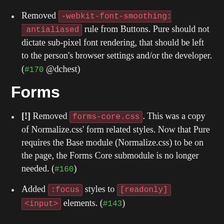Removed -webkit-font-smoothing: antialiased rule from Buttons. Pure should not dictate sub-pixel font rendering, that should be left to the person's browser settings and/or the developer. (#170 @dchest)
Forms
[!] Removed forms-core.css. This was a copy of Normalize.css' form related styles. Now that Pure requires the Base module (Normalize.css) to be on the page, the Forms Core submodule is no longer needed. (#160)
Added :focus styles to [readonly] <input> elements. (#143)